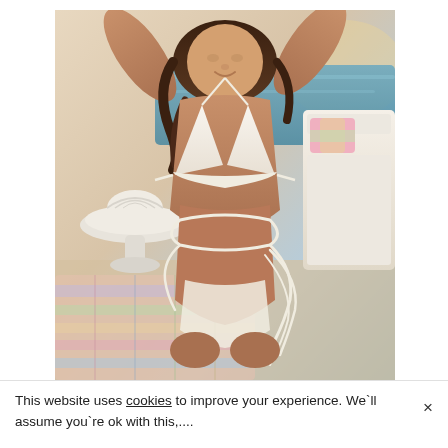[Figure (photo): A woman in a white string bikini with wrap-around ties at the waist, arms raised above her head, photographed at a beach or poolside setting at sunset. Background includes ocean/sea, a decorative white shell-shaped table, colorful patterned rug, and a white daybed with patterned pillows.]
This website uses cookies to improve your experience. We'll assume you're ok with this,...